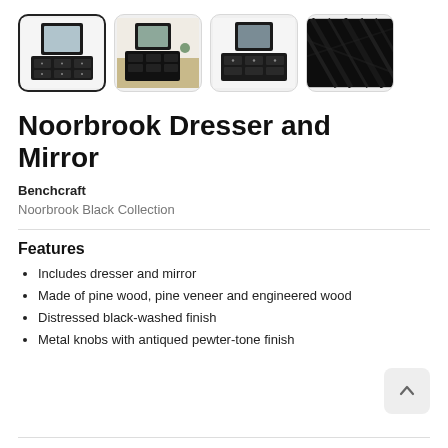[Figure (photo): Four thumbnail images of Noorbrook Dresser and Mirror product. First thumbnail (selected/highlighted) shows a black dresser with mirror from front angle. Second shows dresser with mirror in room setting. Third shows frontal view of dresser with mirror. Fourth shows close-up of the black wood texture finish.]
Noorbrook Dresser and Mirror
Benchcraft
Noorbrook Black Collection
Features
Includes dresser and mirror
Made of pine wood, pine veneer and engineered wood
Distressed black-washed finish
Metal knobs with antiqued pewter-tone finish